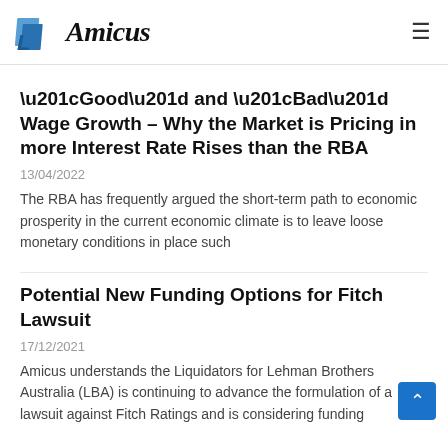Amicus
“Good” and “Bad” Wage Growth – Why the Market is Pricing in more Interest Rate Rises than the RBA
13/04/2022
The RBA has frequently argued the short-term path to economic prosperity in the current economic climate is to leave loose monetary conditions in place such
Potential New Funding Options for Fitch Lawsuit
17/12/2021
Amicus understands the Liquidators for Lehman Brothers Australia (LBA) is continuing to advance the formulation of a lawsuit against Fitch Ratings and is considering funding